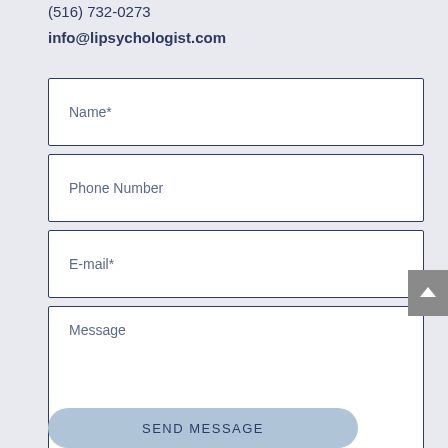(516) 732-0273
info@lipsychologist.com
Name*
Phone Number
E-mail*
Message
SEND MESSAGE